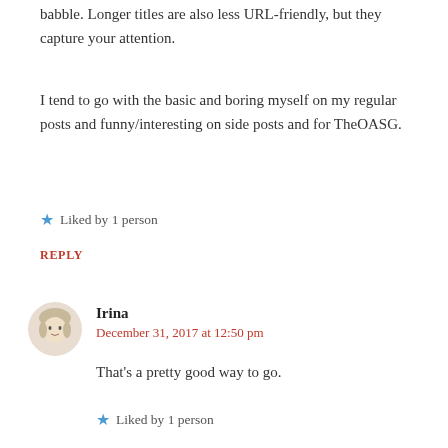babble. Longer titles are also less URL-friendly, but they capture your attention.
I tend to go with the basic and boring myself on my regular posts and funny/interesting on side posts and for TheOASG.
★ Liked by 1 person
REPLY
Irina
December 31, 2017 at 12:50 pm
That's a pretty good way to go.
★ Liked by 1 person